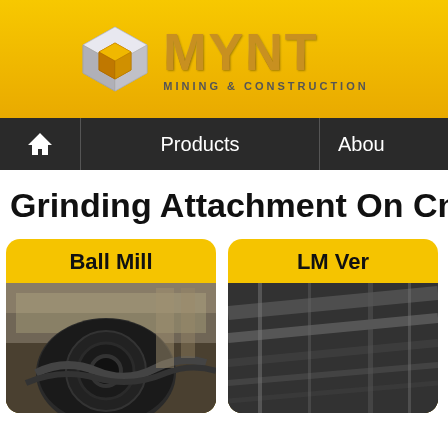[Figure (logo): MYNT Mining & Construction logo with metallic cube icon and gold gradient MYNT text]
[Figure (screenshot): Navigation bar with home icon, Products link, and About link on dark background]
Grinding Attachment On Cnc M
[Figure (photo): Ball Mill product card with yellow header and industrial ball mill machinery photo]
[Figure (photo): LM Vertical Mill product card with yellow header and machinery photo (partially visible)]